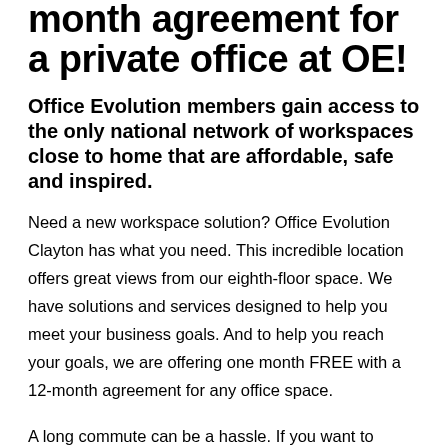month agreement for a private office at OE!
Office Evolution members gain access to the only national network of workspaces close to home that are affordable, safe and inspired.
Need a new workspace solution? Office Evolution Clayton has what you need. This incredible location offers great views from our eighth-floor space. We have solutions and services designed to help you meet your business goals. And to help you reach your goals, we are offering one month FREE with a 12-month agreement for any office space.
A long commute can be a hassle. If you want to